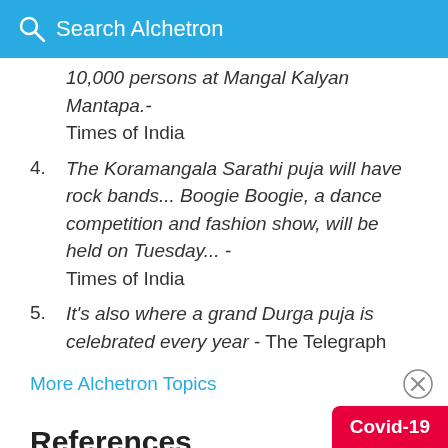Search Alchetron
10,000 persons at Mangal Kalyan Mantapa.- Times of India
4. The Koramangala Sarathi puja will have rock bands... Boogie Boogie, a dance competition and fashion show, will be held on Tuesday... - Times of India
5. It's also where a grand Durga puja is celebrated every year - The Telegraph
More Alchetron Topics
References
Sarathi Socio Cultural Trust Wikipedia (Text) CC